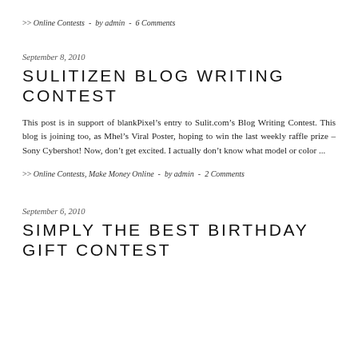>> Online Contests  -  by admin  -  6 Comments
September 8, 2010
SULITIZEN BLOG WRITING CONTEST
This post is in support of blankPixel’s entry to Sulit.com’s Blog Writing Contest. This blog is joining too, as Mhel’s Viral Poster, hoping to win the last weekly raffle prize – Sony Cybershot! Now, don’t get excited. I actually don’t know what model or color ...
>> Online Contests, Make Money Online  -  by admin  -  2 Comments
September 6, 2010
SIMPLY THE BEST BIRTHDAY GIFT CONTEST